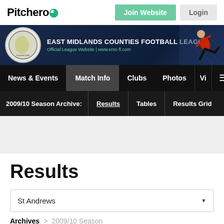Pitchero
[Figure (illustration): East Midlands Counties Football League banner with circular league logo, league name, website URL, and a football player in red kit kicking]
News & Events | Match Info | Clubs | Photos | V... | menu
2009/10 Season Archive: Results | Tables | Results Grid
Results
St Andrews (dropdown)
Archives > 2009/10 Season